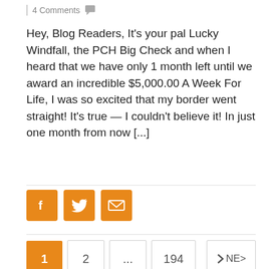4 Comments
Hey, Blog Readers, It’s your pal Lucky Windfall, the PCH Big Check and when I heard that we have only 1 month left until we award an incredible $5,000.00 A Week For Life, I was so excited that my border went straight!  It’s true — I couldn’t believe it!  In just one month from now [...]
[Figure (infographic): Social share buttons: Facebook, Twitter, Email (orange icons)]
Pagination: 1 (current), 2, ..., 194, NEXT